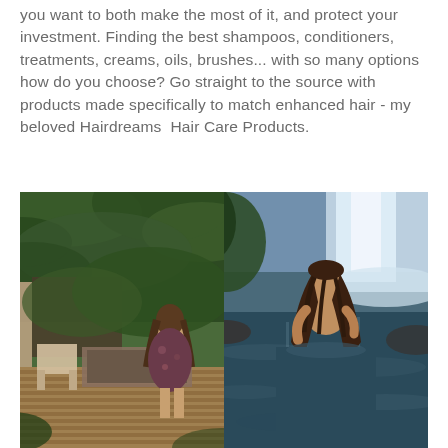you want to both make the most of it, and protect your investment. Finding the best shampoos, conditioners, treatments, creams, oils, brushes... with so many options how do you choose? Go straight to the source with products made specifically to match enhanced hair - my beloved Hairdreams  Hair Care Products.
[Figure (photo): Left photo: Woman in floral dress seen from behind on a wooden deck surrounded by tropical green plants and foliage]
[Figure (photo): Right photo: Woman with long wet hair in a natural pool or waterfall setting, looking upward, water and waterfall in background]